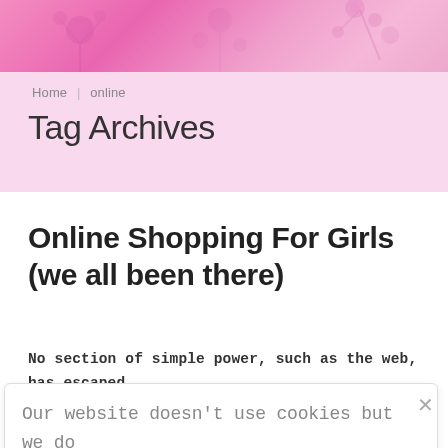[Figure (illustration): Pink floral decorative header banner with flower and branch silhouettes]
Home  online
Tag Archives
Online Shopping For Girls (we all been there)
No section of simple power, such as the web, has escaped extensive commercialization within the contemporary world,
Our website doesn't use cookies but we do collect some basic data. Read more at our